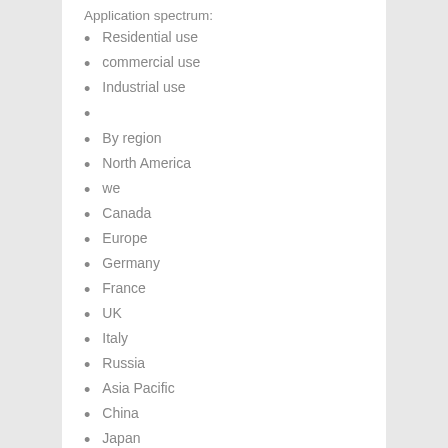Application spectrum:
Residential use
commercial use
Industrial use
By region
North America
we
Canada
Europe
Germany
France
UK
Italy
Russia
Asia Pacific
China
Japan
South Korea